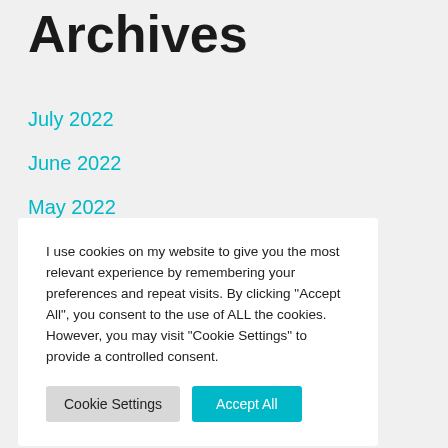Archives
July 2022
June 2022
May 2022
I use cookies on my website to give you the most relevant experience by remembering your preferences and repeat visits. By clicking "Accept All", you consent to the use of ALL the cookies. However, you may visit "Cookie Settings" to provide a controlled consent.
October 2021